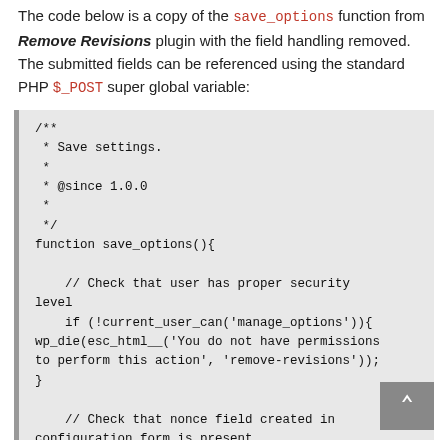The code below is a copy of the save_options function from Remove Revisions plugin with the field handling removed. The submitted fields can be referenced using the standard PHP $_POST super global variable:
/**
 * Save settings.
 *
 * @since 1.0.0
 *
 */
function save_options(){

    // Check that user has proper security level
    if (!current_user_can('manage_options')){
wp_die(esc_html__('You do not have permissions to perform this action', 'remove-revisions'));
}

    // Check that nonce field created in configuration form is present
    if (! empty($_POST) &&
    check_admin_referer('nzrrev_ff', 'nzrrev_ff